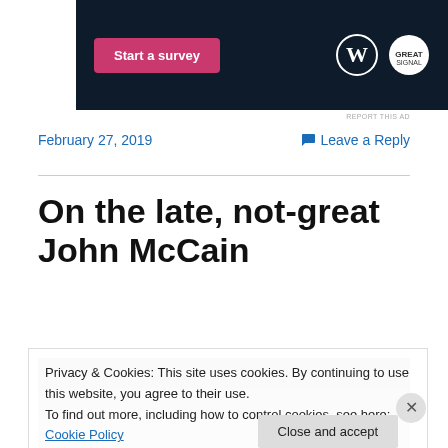[Figure (other): Advertisement banner with dark navy background, pink 'Start a survey' button, WordPress logo (W in circle), and a second circular logo]
REPORT THIS AD
February 27, 2019
Leave a Reply
On the late, not-great John McCain
[Figure (photo): Partially visible photograph, mostly obscured by cookie banner]
Privacy & Cookies: This site uses cookies. By continuing to use this website, you agree to their use.
To find out more, including how to control cookies, see here: Cookie Policy
Close and accept